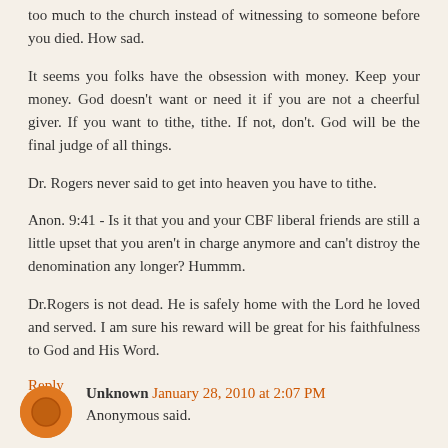too much to the church instead of witnessing to someone before you died. How sad.
It seems you folks have the obsession with money. Keep your money. God doesn't want or need it if you are not a cheerful giver. If you want to tithe, tithe. If not, don't. God will be the final judge of all things.
Dr. Rogers never said to get into heaven you have to tithe.
Anon. 9:41 - Is it that you and your CBF liberal friends are still a little upset that you aren't in charge anymore and can't distroy the denomination any longer? Hummm.
Dr.Rogers is not dead. He is safely home with the Lord he loved and served. I am sure his reward will be great for his faithfulness to God and His Word.
Reply
Unknown January 28, 2010 at 2:07 PM
Anonymous said.